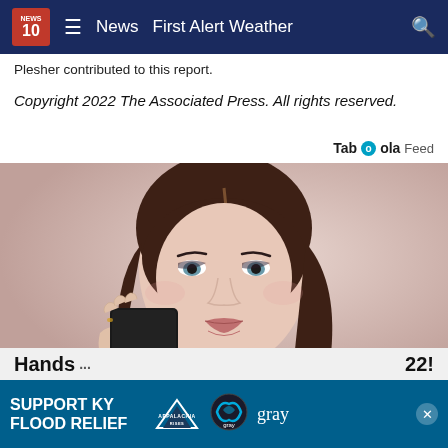NEWS 10 | ≡ | News | First Alert Weather | 🔍
Plesher contributed to this report.
Copyright 2022 The Associated Press. All rights reserved.
Taboola Feed
[Figure (photo): Young brunette woman holding a black card, wearing a pink knit sweater, against a beige/pink background. Studio fashion/beauty portrait.]
Hands ... 22!
[Figure (infographic): Advertisement banner: SUPPORT KY FLOOD RELIEF with Appalachia Rises logo and gray television logo]